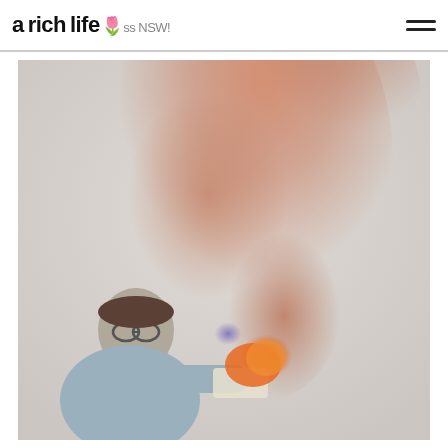a rich life across NSW
[Figure (photo): Person holding burning papers with large orange-pink smoke cloud billowing upward behind them, outdoors against a grey-white background. The person wears glasses and a light denim jacket.]